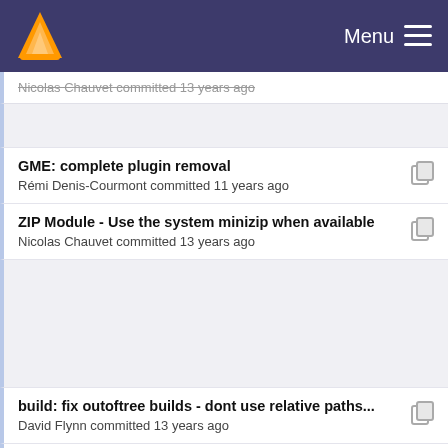VLC Menu
Nicolas Chauvet committed 13 years ago
GME: complete plugin removal
Rémi Denis-Courmont committed 11 years ago
ZIP Module - Use the system minizip when available
Nicolas Chauvet committed 13 years ago
build: fix outoftree builds - dont use relative paths...
David Flynn committed 13 years ago
ZIP Module - Use the system minizip when available
Nicolas Chauvet committed 13 years ago